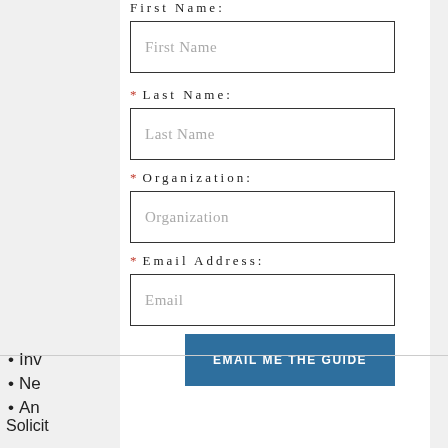First Name:
First Name (placeholder)
* Last Name:
Last Name (placeholder)
* Organization:
Organization (placeholder)
* Email Address:
Email (placeholder)
EMAIL ME THE GUIDE
Inv
Ne
An
These b that yo organiz ways to
Solicit